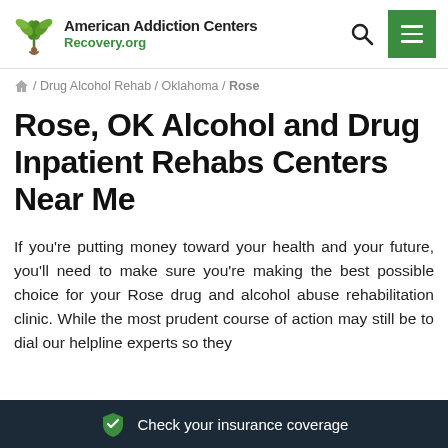American Addiction Centers Recovery.org
/ Drug Alcohol Rehab / Oklahoma / Rose
Rose, OK Alcohol and Drug Inpatient Rehabs Centers Near Me
If you’re putting money toward your health and your future, you’ll need to make sure you’re making the best possible choice for your Rose drug and alcohol abuse rehabilitation clinic. While the most prudent course of action may still be to dial our helpline experts so they
Check your insurance coverage